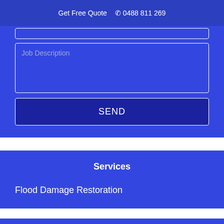Get Free Quote  ☎ 0488 811 269
[Figure (screenshot): A web form on a blue background showing a Job Description textarea input field and a SEND button with white borders.]
Services
Flood Damage Restoration